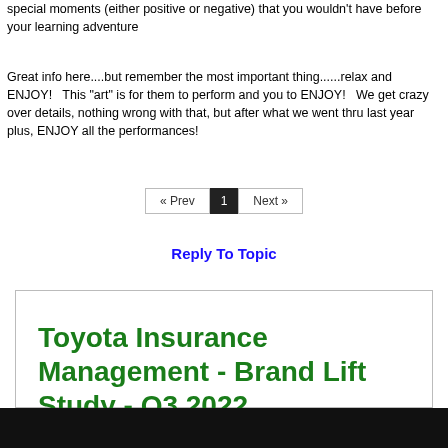special moments (either positive or negative) that you wouldn't have before your learning adventure
Great info here....but remember the most important thing......relax and ENJOY!   This "art" is for them to perform and you to ENJOY!   We get crazy over details, nothing wrong with that, but after what we went thru last year plus, ENJOY all the performances!
« Prev  1  Next »
Reply To Topic
[Figure (other): Advertisement box with green bold text reading: Toyota Insurance Management - Brand Lift Study - Q3 2022]